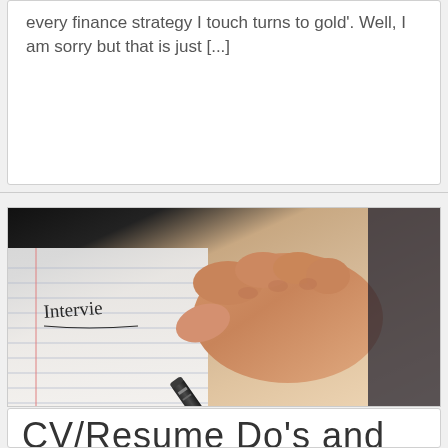every finance strategy I touch turns to gold'. Well, I am sorry but that is just [...]
[Figure (photo): A close-up photo of a hand holding a dark pen, writing the word 'Interview' on a lined notebook page.]
CV/Resume Do's and...